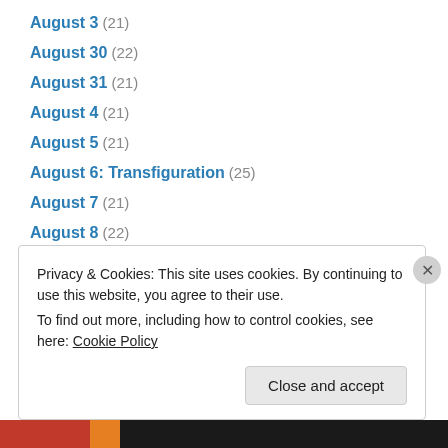August 3 (21)
August 30 (22)
August 31 (21)
August 4 (21)
August 5 (21)
August 6: Transfiguration (25)
August 7 (21)
August 8 (22)
August 9 (22)
Beyond the Lectionary (Ackerman) (30)
Canadian Anglican Lectionary Year 1 (173)
Canadian Anglican Lectionary Year 2 (136)
Christ the King Sunday (23)
Privacy & Cookies: This site uses cookies. By continuing to use this website, you agree to their use. To find out more, including how to control cookies, see here: Cookie Policy
Close and accept